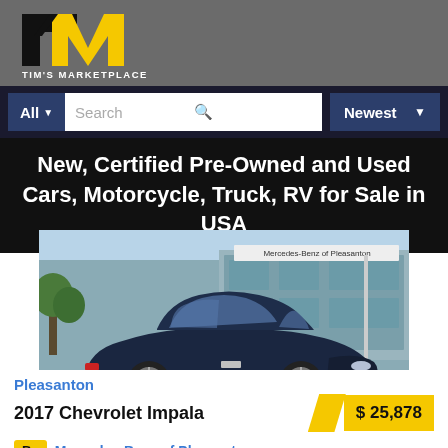[Figure (logo): Tim's Marketplace logo — yellow and black TM letters with 'TIM'S MARKETPLACE' text below]
All  Search  Newest
New, Certified Pre-Owned and Used Cars, Motorcycle, Truck, RV for Sale in USA
[Figure (photo): 2017 Chevrolet Impala dark navy blue sedan parked in front of Mercedes-Benz of Pleasanton dealership]
Pleasanton
2017 Chevrolet Impala
$ 25,878
By  Mercedes-Benz of Pleasanton